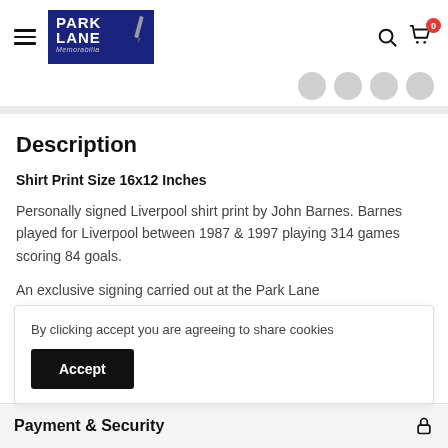Park Lane Memorabilia — navigation header with logo, search, and cart
Description
Shirt Print Size 16x12 Inches
Personally signed Liverpool shirt print by John Barnes. Barnes played for Liverpool between 1987 & 1997 playing 314 games scoring 84 goals.
An exclusive signing carried out at the Park Lane
By clicking accept you are agreeing to share cookies
Accept
Payment & Security